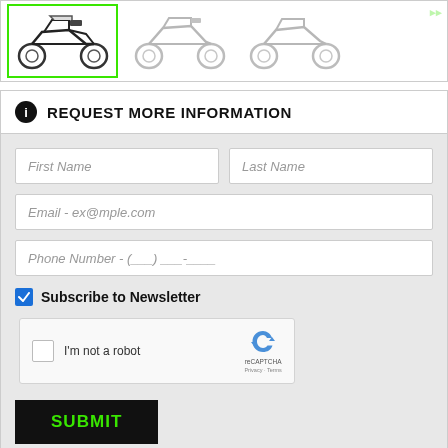[Figure (screenshot): Motorcycle thumbnail gallery showing three motorcycles. The first is selected with a green border, the other two are greyed out.]
REQUEST MORE INFORMATION
First Name
Last Name
Email - ex@mple.com
Phone Number - (___) ___-____
Subscribe to Newsletter
[Figure (screenshot): reCAPTCHA widget with checkbox and 'I'm not a robot' label]
SUBMIT